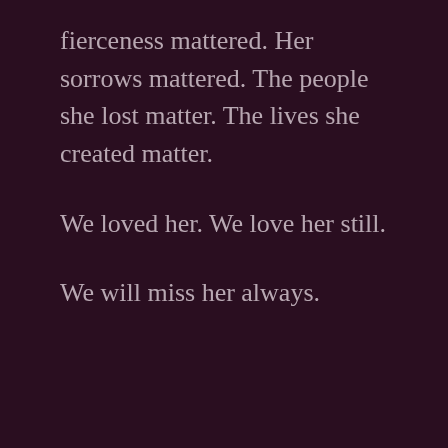fierceness mattered. Her sorrows mattered. The people she lost matter. The lives she created matter.

We loved her. We love her still.

We will miss her always.